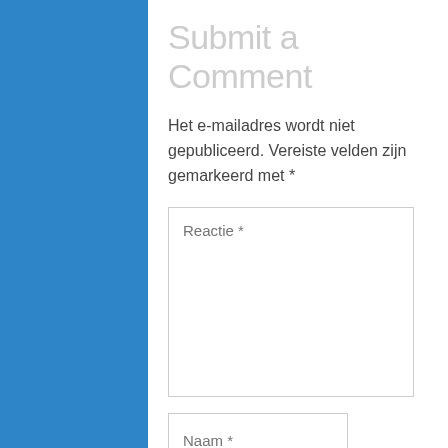Submit a Comment
Het e-mailadres wordt niet gepubliceerd. Vereiste velden zijn gemarkeerd met *
Reactie *
Naam *